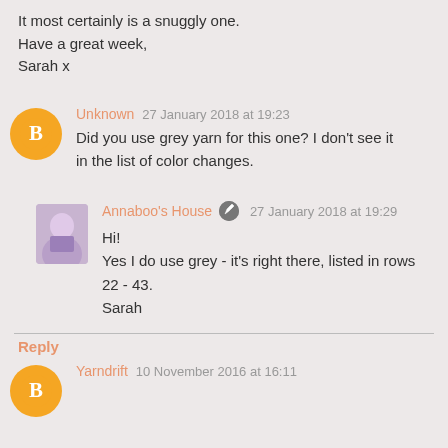It most certainly is a snuggly one.
Have a great week,
Sarah x
Unknown 27 January 2018 at 19:23
Did you use grey yarn for this one? I don't see it in the list of color changes.
Annaboo's House 27 January 2018 at 19:29
Hi!
Yes I do use grey - it's right there, listed in rows 22 - 43.
Sarah
Reply
Yarndrift 10 November 2016 at 16:11